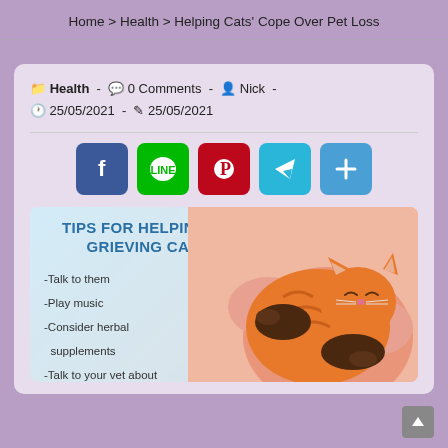Home > Health > Helping Cats' Cope Over Pet Loss
Health - 0 Comments - Nick - 25/05/2021 - 25/05/2021
[Figure (infographic): Infographic titled 'Tips for Helping a Grieving Cat' with bullet points: -Talk to them, -Play music, -Consider herbal supplements, -Talk to your vet about antidepressants. Right side shows illustration of orange tabby cat being hugged by a person in pink.]
[Figure (other): Social sharing buttons: Facebook, LINE, Pinterest, Telegram, Share (plus icon)]